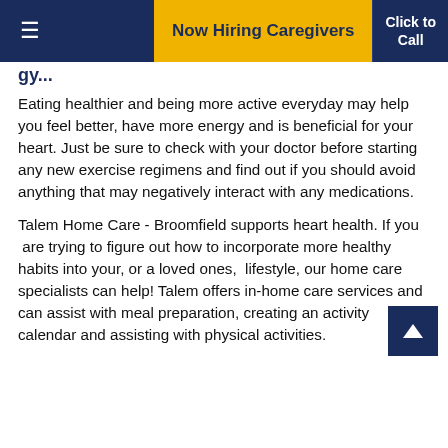Now Hiring Caregivers | Click to Call
Eating healthier and being more active everyday may help you feel better, have more energy and is beneficial for your heart. Just be sure to check with your doctor before starting any new exercise regimens and find out if you should avoid anything that may negatively interact with any medications.
Talem Home Care - Broomfield supports heart health. If you  are trying to figure out how to incorporate more healthy habits into your, or a loved ones,  lifestyle, our home care specialists can help! Talem offers in-home care services and can assist with meal preparation, creating an activity calendar and assisting with physical activities.